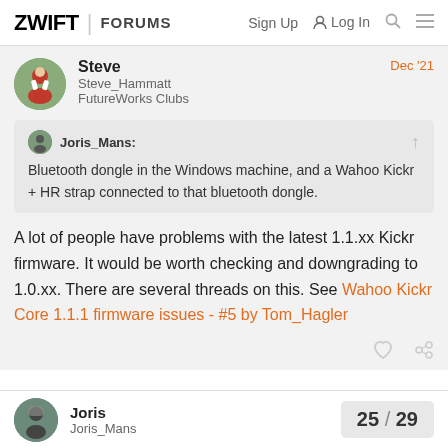ZWIFT | FORUMS   Sign Up   Log In
Steve
Steve_Hammatt
FutureWorks Clubs
Dec '21
Joris_Mans:
Bluetooth dongle in the Windows machine, and a Wahoo Kickr + HR strap connected to that bluetooth dongle.
A lot of people have problems with the latest 1.1.xx Kickr firmware. It would be worth checking and downgrading to 1.0.xx. There are several threads on this. See Wahoo Kickr Core 1.1.1 firmware issues - #5 by Tom_Hagler
Joris
Joris_Mans
25 / 29